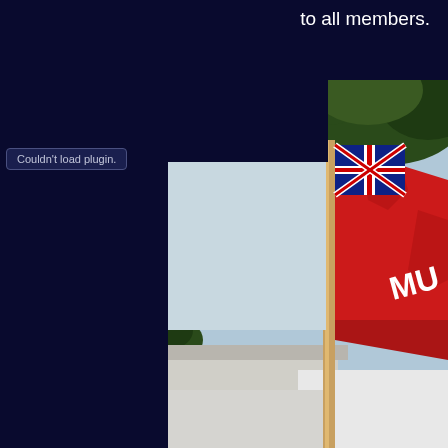to all members.
Couldn't load plugin.
[Figure (photo): Photograph of a red British Red Ensign flag with Union Jack in the upper left corner and 'MU' text visible, mounted on a wooden pole, with trees and a white tent/canopy visible in the background.]